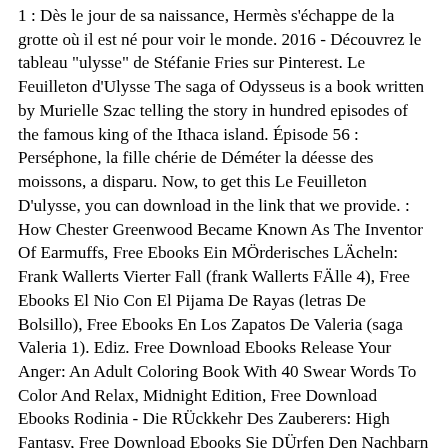1 : Dès le jour de sa naissance, Hermès s'échappe de la grotte où il est né pour voir le monde. 2016 - Découvrez le tableau "ulysse" de Stéfanie Fries sur Pinterest. Le Feuilleton d'Ulysse The saga of Odysseus is a book written by Murielle Szac telling the story in hundred episodes of the famous king of the Ithaca island. Épisode 56 : Perséphone, la fille chérie de Déméter la déesse des moissons, a disparu. Now, to get this Le Feuilleton D'ulysse, you can download in the link that we provide. : How Chester Greenwood Became Known As The Inventor Of Earmuffs, Free Ebooks Ein MÖrderisches LÄcheln: Frank Wallerts Vierter Fall (frank Wallerts FÄlle 4), Free Ebooks El Nio Con El Pijama De Rayas (letras De Bolsillo), Free Ebooks En Los Zapatos De Valeria (saga Valeria 1). Ediz. Free Download Ebooks Release Your Anger: An Adult Coloring Book With 40 Swear Words To Color And Relax, Midnight Edition, Free Download Ebooks Rodinia - Die RÜckkehr Des Zauberers: High Fantasy, Free Download Ebooks Sie DÜrfen Den Nachbarn Jetzt KÜssen (staatsanwÄlte KÜsst Man Nicht 6), Free Download Ebooks Skulduggery Pleasant 9 - Das Sterben Des Lichts, Free Download Ebooks Sonnenliebe Napoli Per Sempre, Free Download Ebooks Spark Joy: An Illustrated Master Class On The Art Of Organizing And Tidying Up, Free Download Ebooks Terrible Virtue: A Novel, Free Download Ebooks The Cottage In The Woods, Free Download Ebooks The Great Lollipop Caper, Free Download Ebooks The Narrow Road To The Deep North: A Novel, Free Download Ebooks The Noisy Paint Box: The Colors